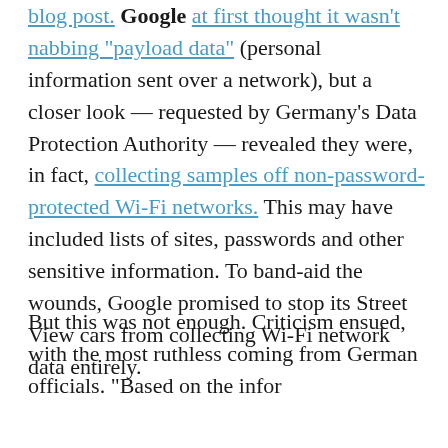blog post. Google at first thought it wasn't nabbing "payload data" (personal information sent over a network), but a closer look — requested by Germany's Data Protection Authority — revealed they were, in fact, collecting samples off non-password-protected Wi-Fi networks. This may have included lists of sites, passwords and other sensitive information. To band-aid the wounds, Google promised to stop its Street View cars from collecting Wi-Fi network data entirely.
But this was not enough. Criticism ensued, with the most ruthless coming from German officials. "Based on the infor
[Figure (illustration): A cartoon sloth with a 'We're sorry.' caption beneath it, appearing apologetic]
mation we have before us, it appears that Google has